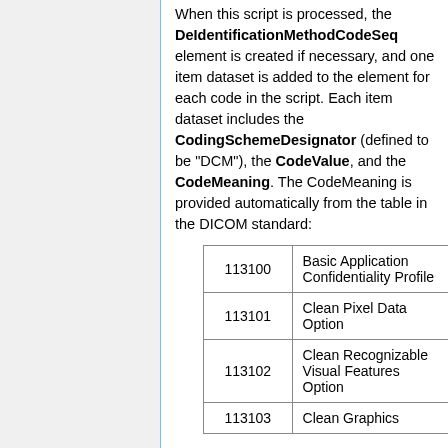When this script is processed, the DeIdentificationMethodCodeSeq element is created if necessary, and one item dataset is added to the element for each code in the script. Each item dataset includes the CodingSchemeDesignator (defined to be "DCM"), the CodeValue, and the CodeMeaning. The CodeMeaning is provided automatically from the table in the DICOM standard:
| 113100 | Basic Application Confidentiality Profile |
| 113101 | Clean Pixel Data Option |
| 113102 | Clean Recognizable Visual Features Option |
| 113103 | Clean Graphics... |